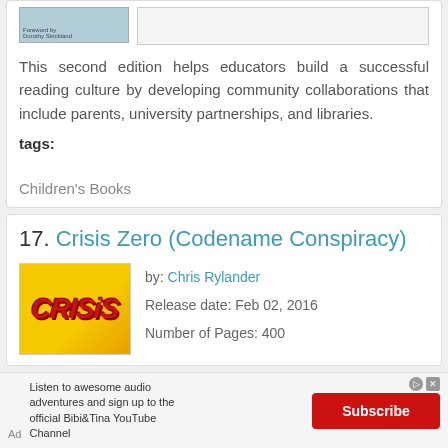[Figure (photo): Book cover thumbnail (top, partially visible) and an empty white box placeholder]
This second edition helps educators build a successful reading culture by developing community collaborations that include parents, university partnerships, and libraries.
tags:
Children's Books
17. Crisis Zero (Codename Conspiracy)
[Figure (photo): Book cover for Crisis Zero showing red Crisis text on yellow background]
by: Chris Rylander
Release date: Feb 02, 2016
Number of Pages: 400
[Figure (other): Ad banner: Listen to awesome audio adventures and sign up to the official Bibi&Tina YouTube Channel. Subscribe button.]